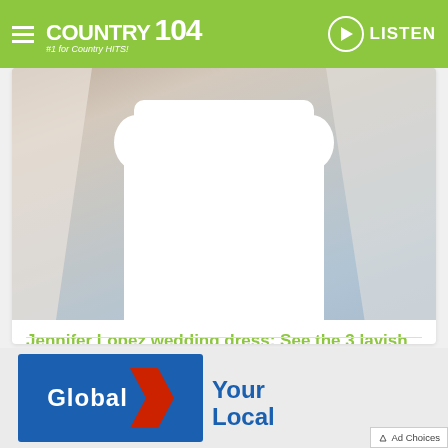COUNTRY 104 #1 for Country HITS! LISTEN
[Figure (photo): Photo of a bride in a white wedding dress with veil]
Jennifer Lopez wedding dress: See the 3 lavish gowns worn in latest ceremony
August 24, 2022  11:11 am
[Figure (logo): Global logo with red arrow and 'Your Local' text, Ad Choices button]